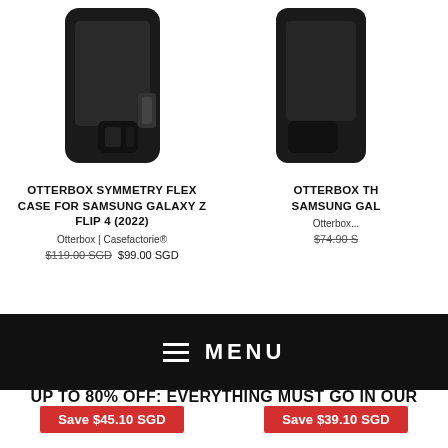[Figure (photo): Black Otterbox Symmetry Flex Case for Samsung Galaxy Z Flip 4 phone case product image]
OTTERBOX SYMMETRY FLEX CASE FOR SAMSUNG GALAXY Z FLIP 4 (2022)
Otterbox | Casefactorie®
$119.00 SGD  $99.00 SGD
[Figure (photo): Black Otterbox Thin case for Samsung Galaxy phone case product image (partially visible)]
OTTERBOX TH... SAMSUNG GAL...
Otterbox...
$74.90 S...
CLEARANCE
UP TO 80% OFF: Everything must go in our
MENU
Save $45.10 SGD
Save $39.10 SGD